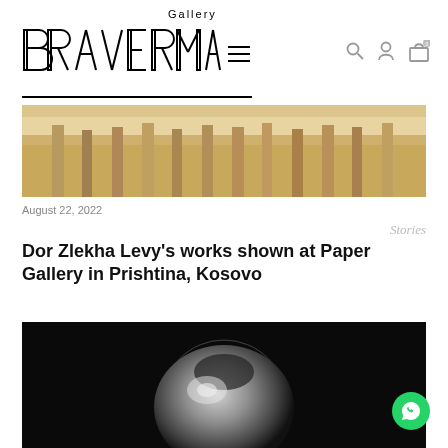Gallery BRAVERMAN
[Figure (photo): Partial top image of architectural or sculptural scene with warm ochre/sand tones, showing statues or columns against a bright sky]
August 22, 2022
Stories
Dor Zlekha Levy's works shown at Paper Gallery in Prishtina, Kosovo
[Figure (photo): Black and white photograph of a spherical or circular sculptural form on a dark background, partially illuminated]